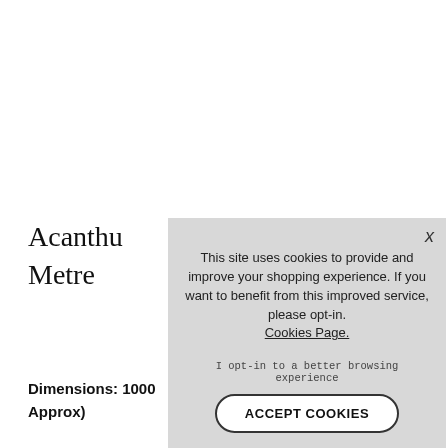Acanthus... Metre...
Dimensions: 1000... Approx)
This site uses cookies to provide and improve your shopping experience. If you want to benefit from this improved service, please opt-in. Cookies Page.

I opt-in to a better browsing experience

ACCEPT COOKIES